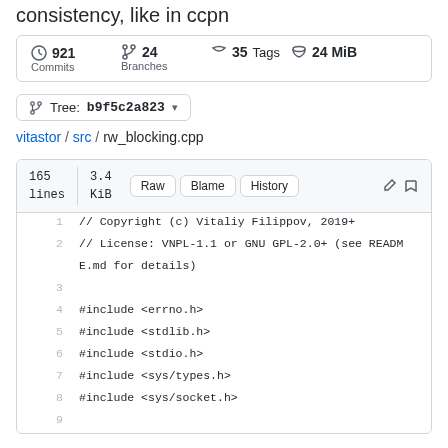consistency, like in ccpn
921 Commits  24 Branches  35 Tags  24 MiB
Tree: b9f5c2a823
vitastor / src / rw_blocking.cpp
165 lines  3.4 KiB  Raw  Blame  History
1  // Copyright (c) Vitaliy Filippov, 2019+
2  // License: VNPL-1.1 or GNU GPL-2.0+ (see README.md for details)
3  
4  #include <errno.h>
5  #include <stdlib.h>
6  #include <stdio.h>
7  #include <sys/types.h>
8  #include <sys/socket.h>
9